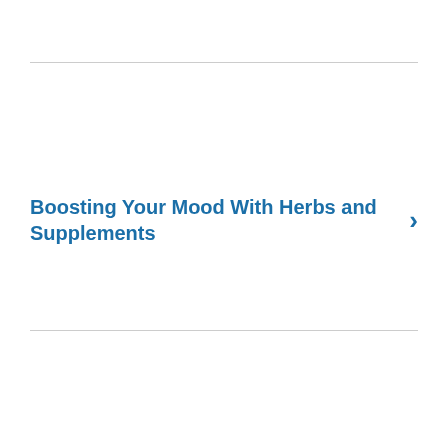Boosting Your Mood With Herbs and Supplements
Treating Psoriatic Arthritis With Ixekizumab: What to Know
ADVERTISEMENT